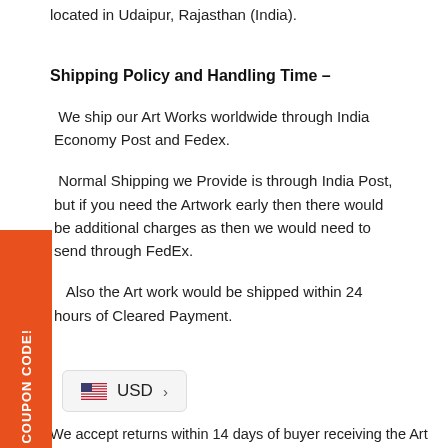located in Udaipur, Rajasthan (India).
Shipping Policy and Handling Time –
We ship our Art Works worldwide through India Economy Post and Fedex.
Normal Shipping we Provide is through India Post, but if you need the Artwork early then there would be additional charges as then we would need to send through FedEx.
Also the Art work would be shipped within 24 hours of Cleared Payment.
[Figure (other): Orange sidebar promotional banner with text '15% OFF COUPON CODE!' rotated vertically]
USD >
We accept returns within 14 days of buyer receiving the Art